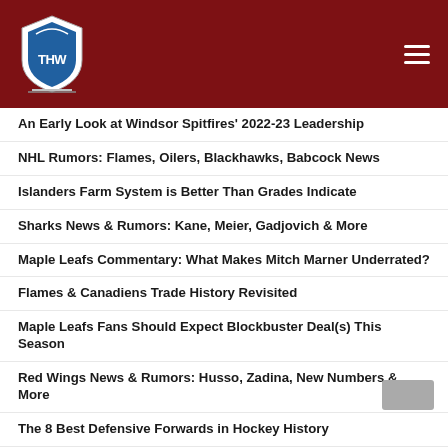THW - The Hockey Writers
An Early Look at Windsor Spitfires’ 2022-23 Leadership
NHL Rumors: Flames, Oilers, Blackhawks, Babcock News
Islanders Farm System is Better Than Grades Indicate
Sharks News & Rumors: Kane, Meier, Gadjovich & More
Maple Leafs Commentary: What Makes Mitch Marner Underrated?
Flames & Canadiens Trade History Revisited
Maple Leafs Fans Should Expect Blockbuster Deal(s) This Season
Red Wings News & Rumors: Husso, Zadina, New Numbers & More
The 8 Best Defensive Forwards in Hockey History
Best & Worst Trades in Ken Holland’s Red Wings Tenure